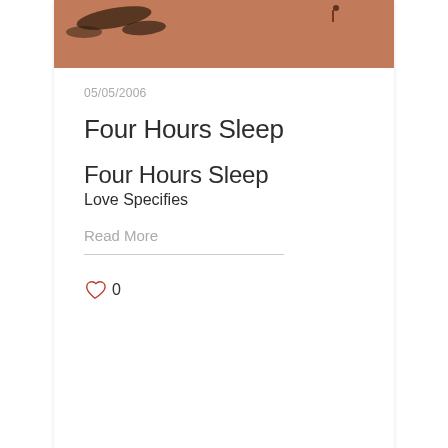[Figure (photo): Partial reddish-brown photo showing what appears to be a sandy or earthy scene with some dark shapes, cropped at the top of the card.]
05/05/2006
Four Hours Sleep
Four Hours Sleep
Love Specifies
Read More
0